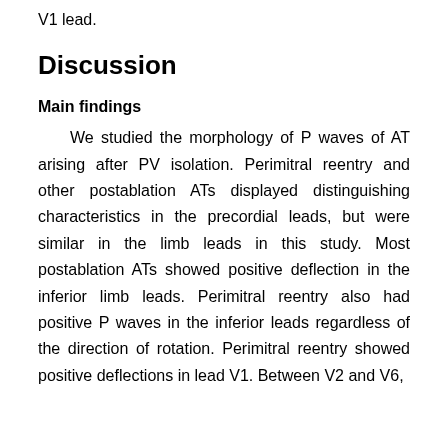V1 lead.
Discussion
Main findings
We studied the morphology of P waves of AT arising after PV isolation. Perimitral reentry and other postablation ATs displayed distinguishing characteristics in the precordial leads, but were similar in the limb leads in this study. Most postablation ATs showed positive deflection in the inferior limb leads. Perimitral reentry also had positive P waves in the inferior leads regardless of the direction of rotation. Perimitral reentry showed positive deflections in lead V1. Between V2 and V6,